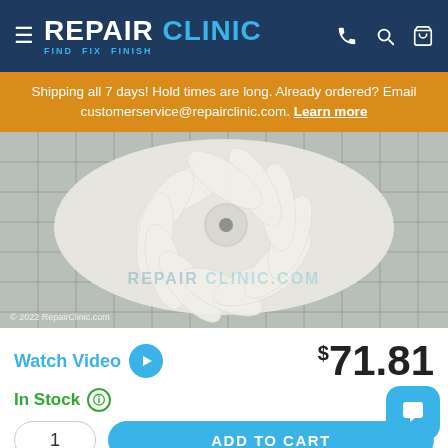REPAIR CLINIC — FIND. FIX. FINISH.
Shipping all 7 days! Hold times are long. Already ordered? Email customerservice@repairclinic.com. Learn more
[Figure (photo): White plastic blower fan wheel photographed on a grey measurement grid background. Watermark reads REPAIRCLINIC.COM. Copyright 2022 RepairClinic.com.]
Watch Video
$71.81
In Stock
1
ADD TO CART